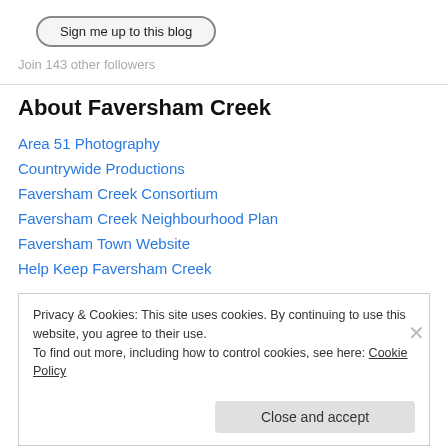[Figure (other): Sign me up to this blog button with rounded border]
Join 143 other followers
About Faversham Creek
Area 51 Photography
Countrywide Productions
Faversham Creek Consortium
Faversham Creek Neighbourhood Plan
Faversham Town Website
Help Keep Faversham Creek
Privacy & Cookies: This site uses cookies. By continuing to use this website, you agree to their use.
To find out more, including how to control cookies, see here: Cookie Policy